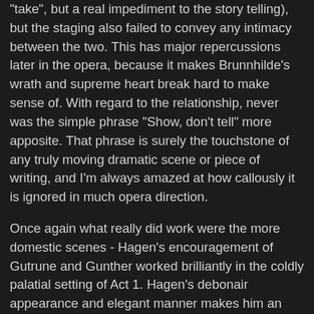"take", but a real impediment to the story telling), but the staging also failed to convey any intimacy between the two. This has major repercussions later in the opera, because it makes Brunnhilde's wrath and supreme heart break hard to make sense of. With regard to the relationship, never was the simple phrase "Show, don't tell" more apposite. That phrase is surely the touchstone of any truly moving dramatic scene or piece of writing, and I'm always amazed at how callously it is ignored in much opera direction.
Once again what really did work were the more domestic scenes - Hagen's encouragement of Gutrune and Gunther worked brilliantly in the coldly palatial setting of Act 1. Hagen's debonair appearance and elegant manner makes him an easy charmer, but he then absent mindedly proceeds to strangle Gutrune as he muses about Brunnhilde downfall - these unexpected moments were disturbing and horrifying: we see that Hagen is just a shell of normalcy about a core of pure emptyness and loathing. He is an archetypal psychopath - that is he is exceptionally intelligent and socially adept, able to learn effective patterns of social interaction, but in reality completely devoid of feeling and